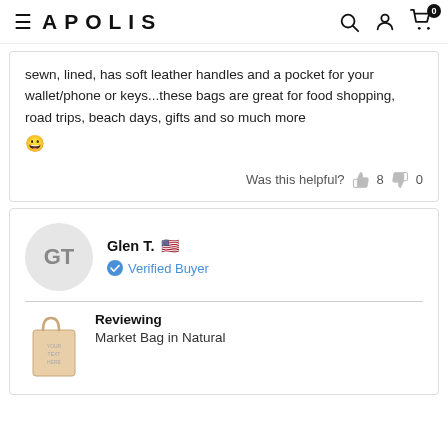APOLIS
sewn, lined, has soft leather handles and a pocket for your wallet/phone or keys...these bags are great for food shopping, road trips, beach days, gifts and so much more 😊
Was this helpful? 8 0
Glen T. 🇺🇸 Verified Buyer
Reviewing Market Bag in Natural